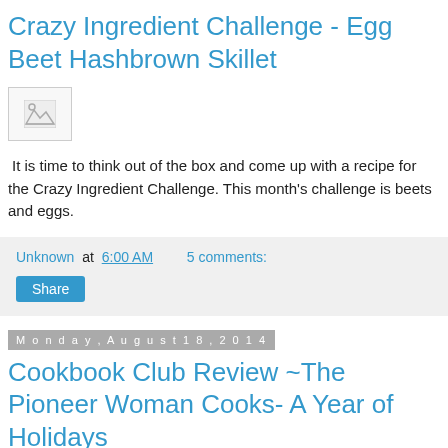Crazy Ingredient Challenge - Egg Beet Hashbrown Skillet
[Figure (photo): Broken/missing image placeholder with small icon]
It is time to think out of the box and come up with a recipe for the Crazy Ingredient Challenge.  This month's challenge is beets and eggs.
Unknown at 6:00 AM   5 comments:
Share
Monday, August 18, 2014
Cookbook Club Review ~The Pioneer Woman Cooks- A Year of Holidays
I have joined a group of great bloggers that review cookbooks each month.  This month we are reviewing Pioneer Woman Cooks- A Year of Holidays.  I am sure I am